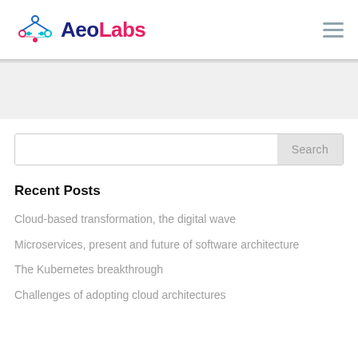AeoLabs
[Figure (logo): AeoLabs logo with network/molecule icon in blue and pink, bold text 'Aeo' in dark navy and 'Labs' in pink]
Search
Recent Posts
Cloud-based transformation, the digital wave
Microservices, present and future of software architecture
The Kubernetes breakthrough
Challenges of adopting cloud architectures